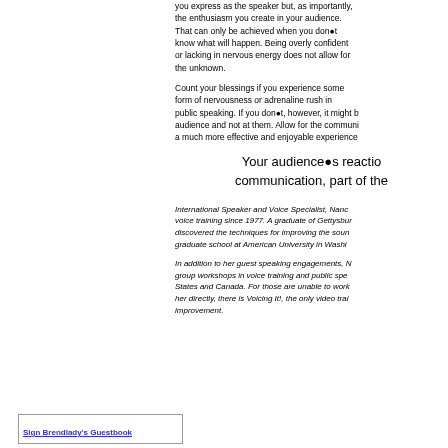you express as the speaker but, as importantly, the enthusiasm you create in your audience. That can only be achieved when you don●t know what will happen. Being overly confident or lacking in nervous energy does not allow for the unknown.
Count your blessings if you experience some form of nervousness or adrenaline rush in public speaking. If you don●t, however, it might b... audience and not at them. Allow for the communi... a much more effective and enjoyable experience
Your audience●s reaction communication, part of the
International Speaker and Voice Specialist, Nanc... voice training since 1977. A graduate of Gettysbur... discovered the techniques for improving the soun... graduate school at American University in Washi...
In addition to her guest speaking engagements, N... group workshops in voice training and public spe... States and Canada. For those are unable to work... her directly, there is Voicing It!, the only video tra... improvement.
Sign Brendlady's Guestbook